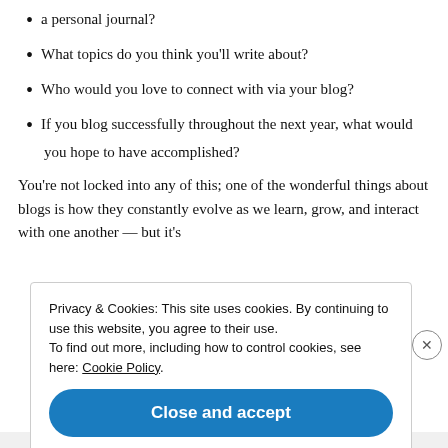a personal journal?
What topics do you think you'll write about?
Who would you love to connect with via your blog?
If you blog successfully throughout the next year, what would you hope to have accomplished?
You're not locked into any of this; one of the wonderful things about blogs is how they constantly evolve as we learn, grow, and interact with one another — but it's
Privacy & Cookies: This site uses cookies. By continuing to use this website, you agree to their use.
To find out more, including how to control cookies, see here: Cookie Policy
Close and accept